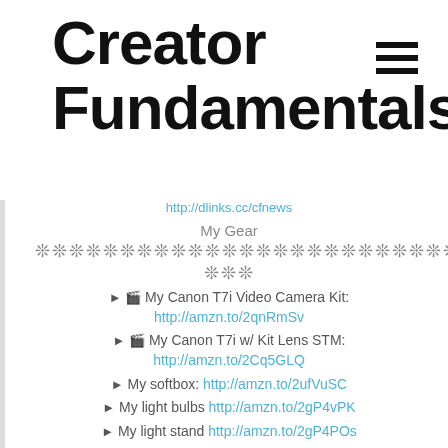Creator Fundamentals
http://dlinks.cc/cfnews
My Gear
❊❊❊❊❊❊❊❊❊❊❊❊❊❊❊❊❊❊❊❊❊❊❊❊❊❊❊❊❊❊❊❊❊ ❊❊❊
► 🎬 My Canon T7i Video Camera Kit: http://amzn.to/2qnRmSv
► 🎬 My Canon T7i w/ Kit Lens STM: http://amzn.to/2Cq5GLQ
► My softbox: http://amzn.to/2ufVuSC
► My light bulbs http://amzn.to/2gP4vPK
► My light stand http://amzn.to/2gP4POs
► My Tripod: http://amzn.to/2yHo05O